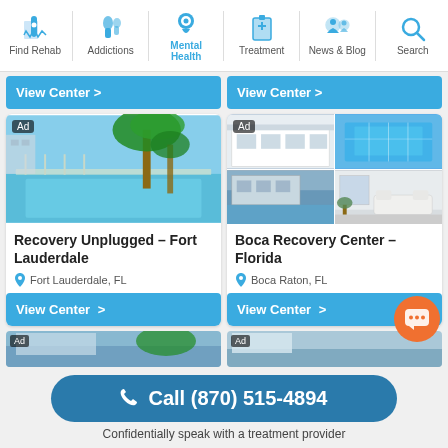Find Rehab | Addictions | Mental Health | Treatment | News & Blog | Search
View Center >
View Center >
[Figure (photo): Pool area with palm trees at Recovery Unplugged Fort Lauderdale rehab center, Ad badge in corner]
Recovery Unplugged – Fort Lauderdale
Fort Lauderdale, FL
View Center >
[Figure (photo): Grid of photos showing Boca Recovery Center exterior, pool, and interior room, Ad badge in corner]
Boca Recovery Center – Florida
Boca Raton, FL
View Center >
[Figure (photo): Partial view of another rehab center at bottom left, Ad badge visible]
[Figure (photo): Partial view of another rehab center at bottom right, Ad badge visible]
Call (870) 515-4894
Confidentially speak with a treatment provider